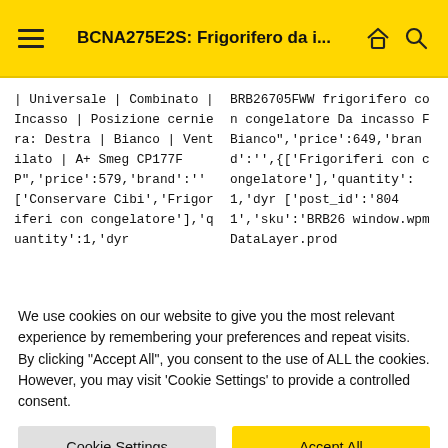BCNA275E2S: Frigorifero da i...
| Universale | Combinato | Incasso | Posizione cerniera: Destra | Bianco | Ventilato | A+ Smeg CP177FP",'price':579,'brand':'' ['Conservare Cibi','Frigoriferi con congelatore'],'quantity':1,'dyr
BRB26705FWW frigorifero con congelatore Da incasso F Bianco",'price':649,'brand':'',{['Frigoriferi con congelatore'],'quantity':1,'dyr ['post_id':'8041','sku':'BRB26 window.wpmDataLayer.prod
We use cookies on our website to give you the most relevant experience by remembering your preferences and repeat visits. By clicking "Accept All", you consent to the use of ALL the cookies. However, you may visit 'Cookie Settings' to provide a controlled consent.
Cookie Settings
Accept All